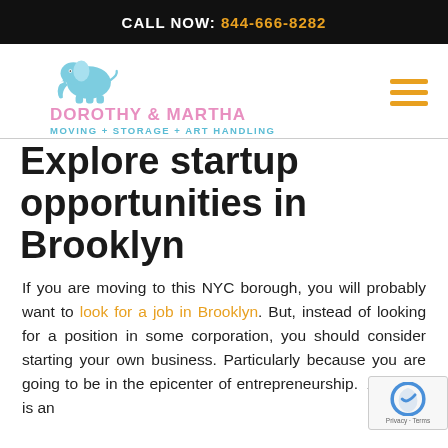CALL NOW: 844-666-8282
[Figure (logo): Dorothy & Martha Moving + Storage + Art Handling logo with blue elephant illustration]
Explore startup opportunities in Brooklyn
If you are moving to this NYC borough, you will probably want to look for a job in Brooklyn. But, instead of looking for a position in some corporation, you should consider starting your own business. Particularly because you are going to be in the epicenter of entrepreneurship.  And that is an opportunity you should not. Moreover to